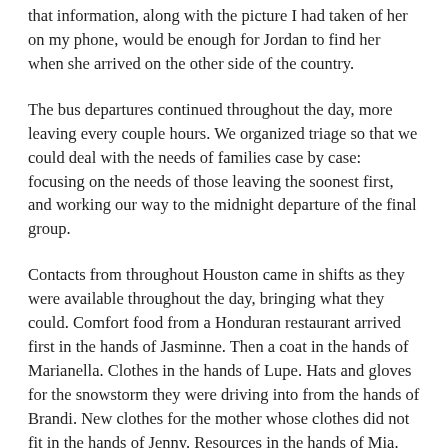that information, along with the picture I had taken of her on my phone, would be enough for Jordan to find her when she arrived on the other side of the country.
The bus departures continued throughout the day, more leaving every couple hours. We organized triage so that we could deal with the needs of families case by case: focusing on the needs of those leaving the soonest first, and working our way to the midnight departure of the final group.
Contacts from throughout Houston came in shifts as they were available throughout the day, bringing what they could. Comfort food from a Honduran restaurant arrived first in the hands of Jasminne. Then a coat in the hands of Marianella. Clothes in the hands of Lupe. Hats and gloves for the snowstorm they were driving into from the hands of Brandi. New clothes for the mother whose clothes did not fit in the hands of Jenny. Resources in the hands of Mia. And one final late night delivery by Elaine to meet the requests of the